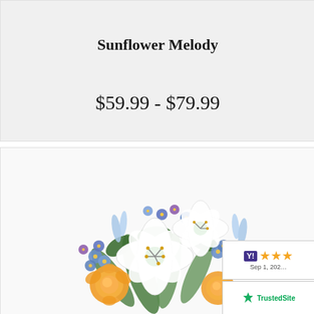[Figure (photo): Partial view of a dark object (possibly a shoe or decorative item) at the very top of the product card]
Sunflower Melody
$59.99 - $79.99
[Figure (photo): Flower bouquet featuring white lilies, yellow roses, blue and purple flowers, and green foliage. A Yahoo Shopping rating badge showing 3 stars and date Sep 1, 202... is overlaid at bottom right. A TrustedSite badge is visible at the very bottom right.]